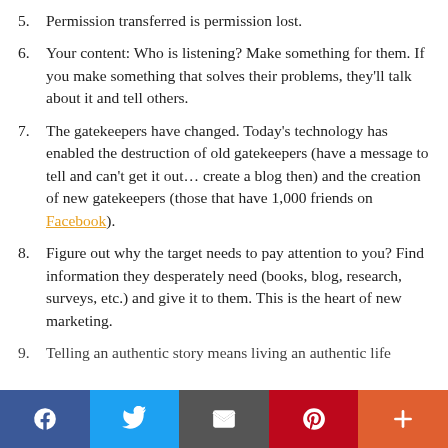5. Permission transferred is permission lost.
6. Your content: Who is listening? Make something for them. If you make something that solves their problems, they’ll talk about it and tell others.
7. The gatekeepers have changed. Today’s technology has enabled the destruction of old gatekeepers (have a message to tell and can’t get it out… create a blog then) and the creation of new gatekeepers (those that have 1,000 friends on Facebook).
8. Figure out why the target needs to pay attention to you? Find information they desperately need (books, blog, research, surveys, etc.) and give it to them. This is the heart of new marketing.
9. Telling an authentic story means living an authentic life
Social share bar: Facebook, Twitter, Email, Pinterest, More